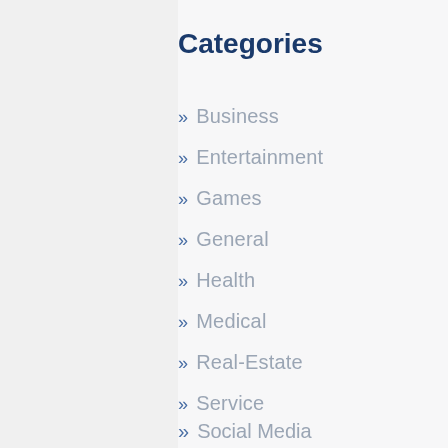Categories
» Business
» Entertainment
» Games
» General
» Health
» Medical
» Real-Estate
» Service
» Social Media (partial)